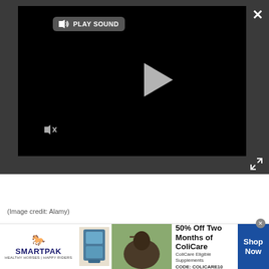[Figure (screenshot): Video player overlay with dark background, play sound button, muted speaker icon, and play triangle button on black video area]
[Figure (photo): Partial photo of brick wall and wooden structure]
(Image credit: Alamy)
Start by deciding on the dimensions of your front garden wall ideas and calculate how many bricks you need. Any brick wall needs a firm and level base, once this is in place you can lay your first course of bricks.
[Figure (infographic): SmartPak advertisement banner: 50% Off Two Months of ColiCare, ColiCare Eligible Supplements, CODE: COLICARE10, Shop Now button]